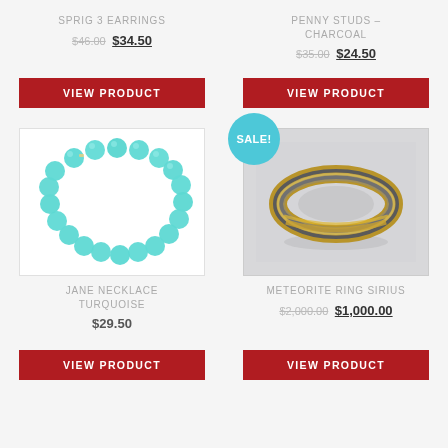SPRIG 3 EARRINGS $46.00 $34.50
PENNY STUDS – CHARCOAL $35.00 $24.50
VIEW PRODUCT
VIEW PRODUCT
[Figure (photo): Turquoise beaded necklace on white background]
[Figure (photo): Gold and meteorite ring with SALE badge on grey background]
JANE NECKLACE TURQUOISE $29.50
METEORITE RING SIRIUS $2,000.00 $1,000.00
VIEW PRODUCT
VIEW PRODUCT